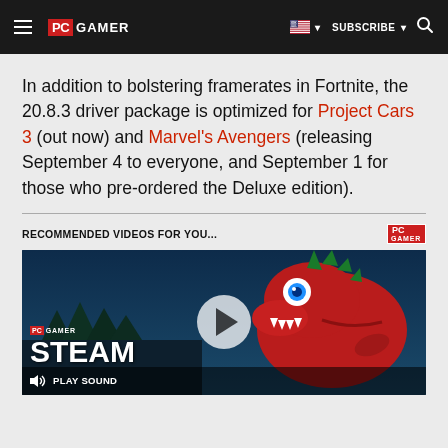PC GAMER | SUBSCRIBE
In addition to bolstering framerates in Fortnite, the 20.8.3 driver package is optimized for Project Cars 3 (out now) and Marvel's Avengers (releasing September 4 to everyone, and September 1 for those who pre-ordered the Deluxe edition).
RECOMMENDED VIDEOS FOR YOU...
[Figure (screenshot): PC Gamer video thumbnail showing a dinosaur character with text 'STEAM' and a play button overlay, with a sound/play control bar at the bottom reading 'PLAY SOUND']